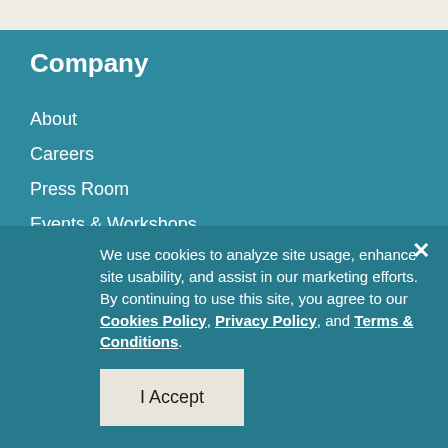Company
About
Careers
Press Room
Events & Workshops
We use cookies to analyze site usage, enhance site usability, and assist in our marketing efforts. By continuing to use this site, you agree to our Cookies Policy, Privacy Policy, and Terms & Conditions.
I Accept